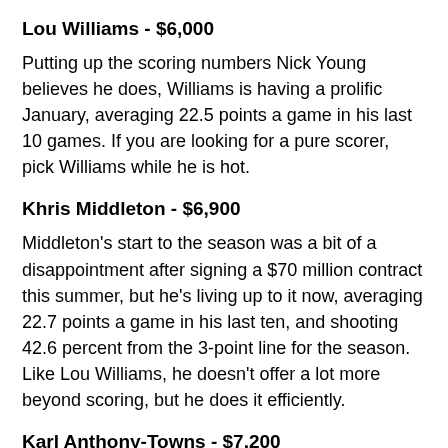Lou Williams - $6,000
Putting up the scoring numbers Nick Young believes he does, Williams is having a prolific January, averaging 22.5 points a game in his last 10 games. If you are looking for a pure scorer, pick Williams while he is hot.
Khris Middleton - $6,900
Middleton's start to the season was a bit of a disappointment after signing a $70 million contract this summer, but he's living up to it now, averaging 22.7 points a game in his last ten, and shooting 42.6 percent from the 3-point line for the season. Like Lou Williams, he doesn't offer a lot more beyond scoring, but he does it efficiently.
Karl Anthony-Towns - $7,200